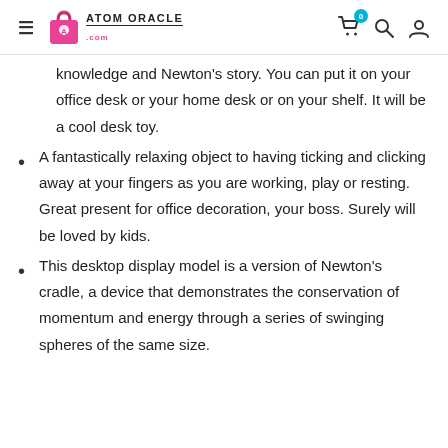Atom Oracle .com
knowledge and Newton's story. You can put it on your office desk or your home desk or on your shelf. It will be a cool desk toy.
A fantastically relaxing object to having ticking and clicking away at your fingers as you are working, play or resting. Great present for office decoration, your boss. Surely will be loved by kids.
This desktop display model is a version of Newton's cradle, a device that demonstrates the conservation of momentum and energy through a series of swinging spheres of the same size.